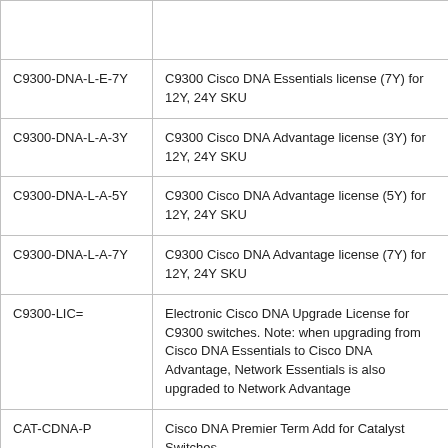| SKU | Description |
| --- | --- |
|  |  |
| C9300-DNA-L-E-7Y | C9300 Cisco DNA Essentials license (7Y) for 12Y, 24Y SKU |
| C9300-DNA-L-A-3Y | C9300 Cisco DNA Advantage license (3Y) for 12Y, 24Y SKU |
| C9300-DNA-L-A-5Y | C9300 Cisco DNA Advantage license (5Y) for 12Y, 24Y SKU |
| C9300-DNA-L-A-7Y | C9300 Cisco DNA Advantage license (7Y) for 12Y, 24Y SKU |
| C9300-LIC= | Electronic Cisco DNA Upgrade License for C9300 switches. Note: when upgrading from Cisco DNA Essentials to Cisco DNA Advantage, Network Essentials is also upgraded to Network Advantage |
| CAT-CDNA-P | Cisco DNA Premier Term Add for Catalyst Switches |